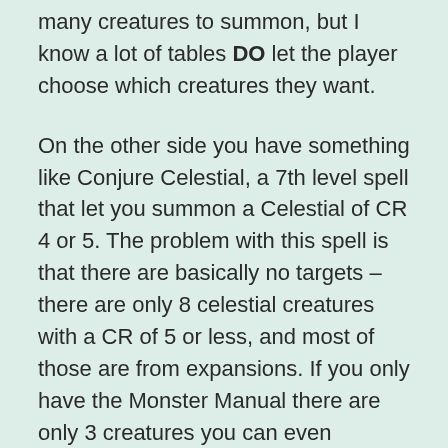many creatures to summon, but I know a lot of tables DO let the player choose which creatures they want.
On the other side you have something like Conjure Celestial, a 7th level spell that let you summon a Celestial of CR 4 or 5. The problem with this spell is that there are basically no targets – there are only 8 celestial creatures with a CR of 5 or less, and most of those are from expansions. If you only have the Monster Manual there are only 3 creatures you can even summon with this spell.
Another problem with these older style summoning spells was the sheer amount of time required to use them. Because you have to choose existing